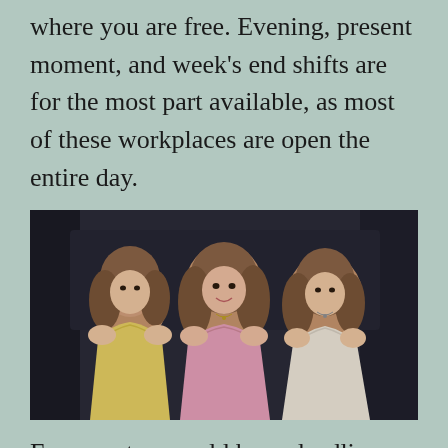where you are free. Evening, present moment, and week's end shifts are for the most part available, as most of these workplaces are open the entire day.
[Figure (photo): Three young women in formal dresses (yellow, pink, white) sitting together, smiling at the camera in what appears to be a club or lounge setting.]
Free creators could have deadlines, or they could have to attract with editors during run of